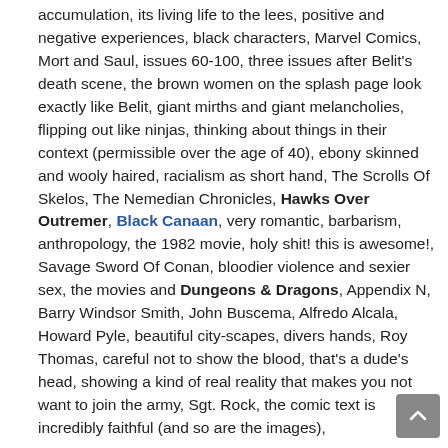accumulation, its living life to the lees, positive and negative experiences, black characters, Marvel Comics, Mort and Saul, issues 60-100, three issues after Belit's death scene, the brown women on the splash page look exactly like Belit, giant mirths and giant melancholies, flipping out like ninjas, thinking about things in their context (permissible over the age of 40), ebony skinned and wooly haired, racialism as short hand, The Scrolls Of Skelos, The Nemedian Chronicles, Hawks Over Outremer, Black Canaan, very romantic, barbarism, anthropology, the 1982 movie, holy shit! this is awesome!, Savage Sword Of Conan, bloodier violence and sexier sex, the movies and Dungeons & Dragons, Appendix N, Barry Windsor Smith, John Buscema, Alfredo Alcala, Howard Pyle, beautiful city-scapes, divers hands, Roy Thomas, careful not to show the blood, that's a dude's head, showing a kind of real reality that makes you not want to join the army, Sgt. Rock, the comic text is incredibly faithful (and so are the images),